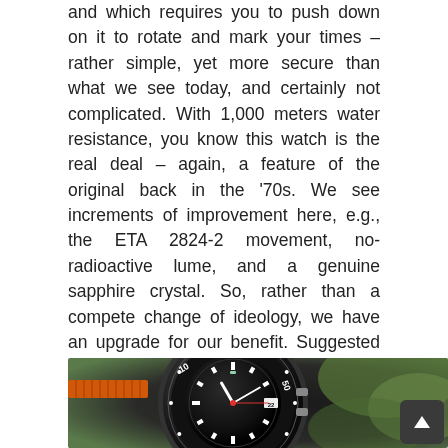and which requires you to push down on it to rotate and mark your times – rather simple, yet more secure than what we see today, and certainly not complicated. With 1,000 meters water resistance, you know this watch is the real deal – again, a feature of the original back in the '70s. We see increments of improvement here, e.g., the ETA 2824-2 movement, no-radioactive lume, and a genuine sapphire crystal. So, rather than a compete change of ideology, we have an upgrade for our benefit. Suggested improvements? I would like to see it a tad thinner in profile, longer lugs, and a bit more balanced on the wrist. Then again, if we did this today, it wouldn't be fresh from the '70s anymore!
[Figure (photo): Close-up photo of a diver watch with a dark bezel showing numerals (10, 50 visible), white dot minute markers, and an orange NATO/mesh strap visible on the left side. The background shows blurred green foliage.]